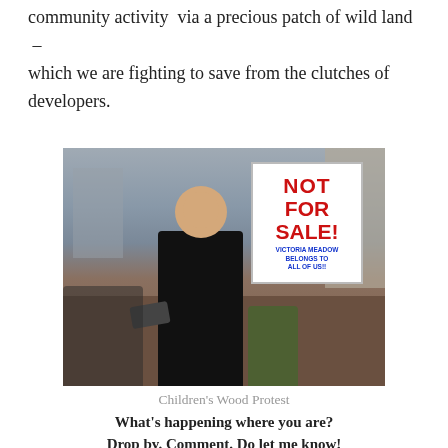community activity  via a precious patch of wild land  –  which we are fighting to save from the clutches of developers.
[Figure (photo): A person holding a megaphone and a protest sign reading 'NOT FOR SALE!' with sub-text 'VICTORIA MEADOW BELONGS TO ALL OF US!!' at what appears to be an outdoor protest in an urban setting.]
Children's Wood Protest
What's happening where you are?
Drop by. Comment. Do let me know!
******
500 words copyright Anne Whitaker 2015/ 'Not for Sale!' Photo copyright Anne Whitaker 2015